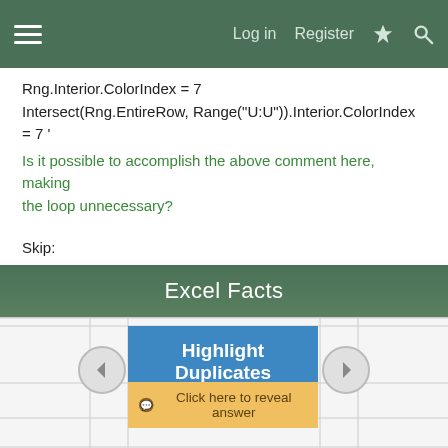Log in  Register
Rng.Interior.ColorIndex = 7
Intersect(Rng.EntireRow, Range("U:U")).Interior.ColorIndex = 7 '
Is it possible to accomplish the above comment here, making the loop unnecessary?
Skip:
End Sub
Basically I want to exclude columns O:T from the loop, and I can't seem to figure it out. Anyone have any input?
Last edited: Mar 8, 2019
Excel Facts
Highlight Duplicates
Click here to reveal answer